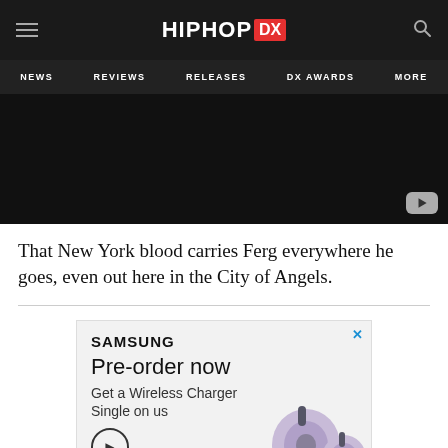HIPHOP DX — NEWS | REVIEWS | RELEASES | DX AWARDS | MORE
[Figure (screenshot): Dark/black video embed area with a YouTube play button in the bottom right corner]
That New York blood carries Ferg everywhere he goes, even out here in the City of Angels.
[Figure (screenshot): Samsung advertisement: Pre-order now Get a Wireless Charger Single on us, with Samsung earbuds (Galaxy Buds) shown in the bottom right corner and a close X button in the top right.]